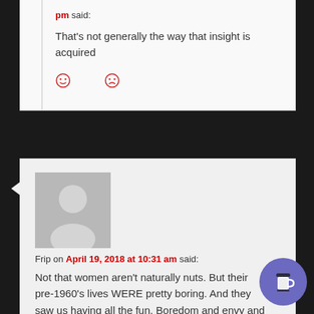pm said:
That's not generally the way that insight is acquired
Frip on April 19, 2018 at 10:31 am said:
[Figure (illustration): Grey avatar placeholder image of a person silhouette]
Not that women aren't naturally nuts. But their pre-1960's lives WERE pretty boring. And they saw us having all the fun. Boredom and envy and little kids will drive you insane.